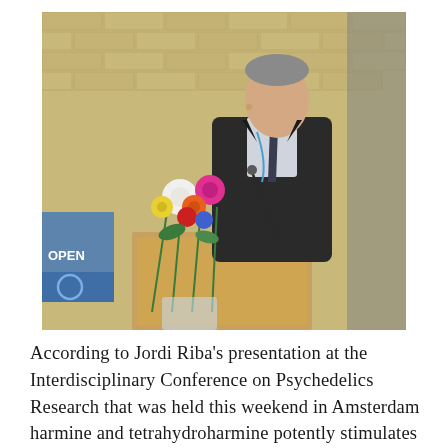[Figure (photo): A man in a dark suit speaking at a podium with a bouquet of colorful flowers in front. A blue banner with 'OPEN' is visible in the background. Brick wall behind the speaker.]
According to Jordi Riba's presentation at the Interdisciplinary Conference on Psychedelics Research that was held this weekend in Amsterdam harmine and tetrahydroharmine potently stimulates the formation of new neurons from stem cells in vitro. This data has not been published yet but opens